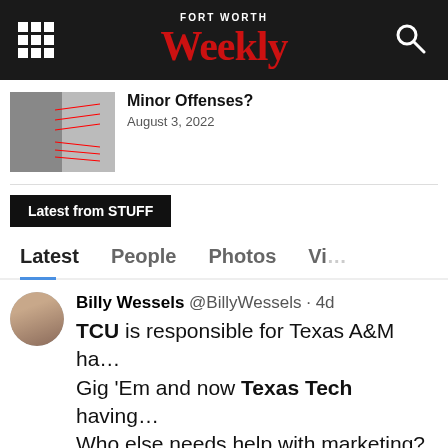Fort Worth Weekly
Minor Offenses?
August 3, 2022
Latest from STUFF
Latest   People   Photos   Vi…
Billy Wessels @BillyWessels · 4d TCU is responsible for Texas A&M ha… Gig 'Em and now Texas Tech having… Who else needs help with marketing?
14  25  212